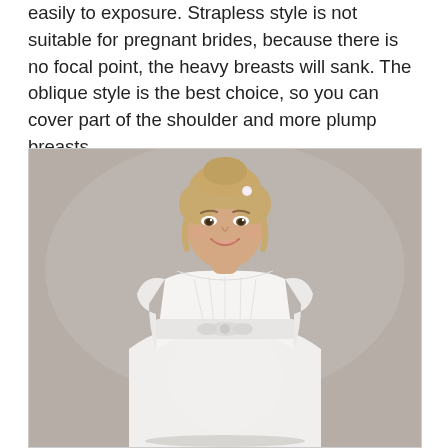easily to exposure. Strapless style is not suitable for pregnant brides, because there is no focal point, the heavy breasts will sank. The oblique style is the best choice, so you can cover part of the shoulder and more plump breasts.
[Figure (photo): A pregnant woman wearing a white empire-waist wedding dress with cap sleeves and a bow detail at the waist. She has blonde hair styled up, and is smiling. The background is a neutral gray-beige.]